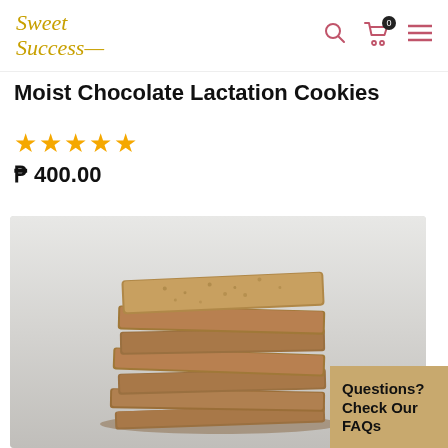Sweet Success — logo with search, cart, and menu icons
Moist Chocolate Lactation Cookies
★★★★★
₱ 400.00
[Figure (photo): Stack of square flat chocolate lactation cookies piled on top of each other against a light gray background]
Questions? Check Our FAQs